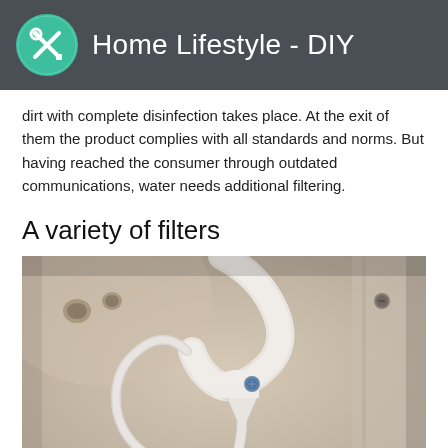Home Lifestyle - DIY
dirt with complete disinfection takes place. At the exit of them the product complies with all standards and norms. But having reached the consumer through outdated communications, water needs additional filtering.
A variety of filters
[Figure (photo): Close-up photo of a white water filter or faucet fitting under a kitchen sink, showing pipes, connectors, and a blue fitting, photographed from below against a beige/cream background.]